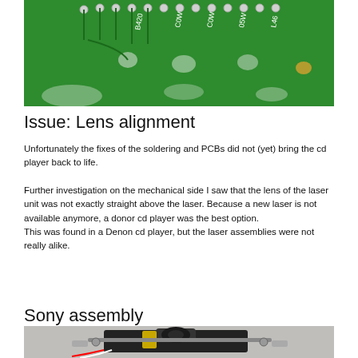[Figure (photo): Close-up photo of a green PCB (printed circuit board) with solder joints, components, and white text labels visible on the board surface.]
Issue: Lens alignment
Unfortunately the fixes of the soldering and PCBs did not (yet) bring the cd player back to life.
Further investigation on the mechanical side I saw that the lens of the laser unit was not exactly straight above the laser. Because a new laser is not available anymore, a donor cd player was the best option.
This was found in a Denon cd player, but the laser assemblies were not really alike.
Sony assembly
[Figure (photo): Photo of a Sony laser assembly unit showing a black mechanical assembly with a lens unit, mounted on a rail with red and white wires visible.]